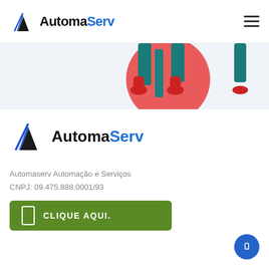AutomaServ
[Figure (illustration): Partial view of illustrated people walking, with red circular element and teal pants and red shoes visible]
[Figure (logo): AutomaServ logo with blue triangle/arrow icon and bold text AutomaServ]
Automaserv Automação e Serviços
CNPJ: 09.475.888.0001/93
CLIQUE AQUI.